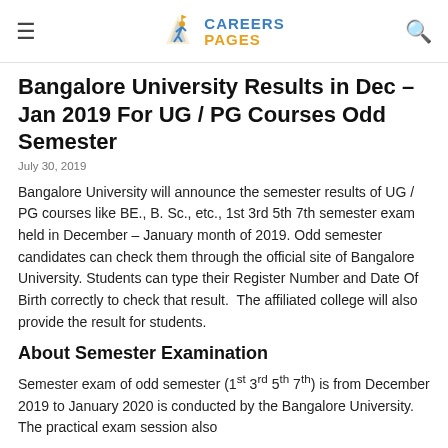CAREERS PAGES
Bangalore University Results in Dec – Jan 2019 For UG / PG Courses Odd Semester
July 30, 2019
Bangalore University will announce the semester results of UG / PG courses like BE., B. Sc., etc., 1st 3rd 5th 7th semester exam held in December – January month of 2019. Odd semester candidates can check them through the official site of Bangalore University. Students can type their Register Number and Date Of Birth correctly to check that result. The affiliated college will also provide the result for students.
About Semester Examination
Semester exam of odd semester (1st 3rd 5th 7th) is from December 2019 to January 2020 is conducted by the Bangalore University. The practical exam session also